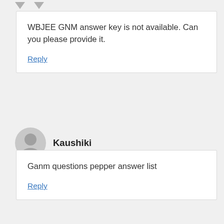WBJEE GNM answer key is not available. Can you please provide it.
Reply
Kaushiki
Ganm questions pepper answer list
Reply